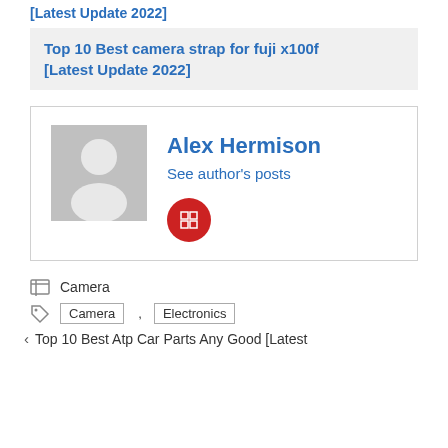[Latest Update 2022]
Top 10 Best camera strap for fuji x100f [Latest Update 2022]
Alex Hermison
See author's posts
Camera
Camera , Electronics
Top 10 Best Atp Car Parts Any Good [Latest